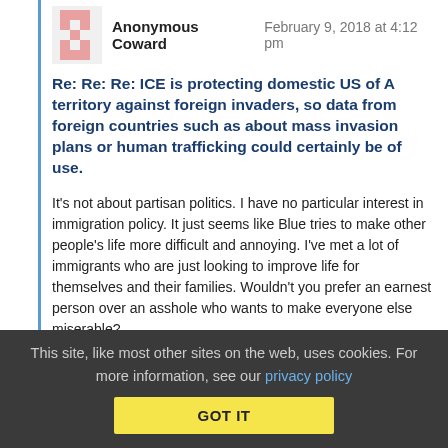Anonymous Coward   February 9, 2018 at 4:12 pm
Re: Re: Re: ICE is protecting domestic US of A territory against foreign invaders, so data from foreign countries such as about mass invasion plans or human trafficking could certainly be of use.
It's not about partisan politics. I have no particular interest in immigration policy. It just seems like Blue tries to make other people's life more difficult and annoying. I've met a lot of immigrants who are just looking to improve life for themselves and their families. Wouldn't you prefer an earnest person over an asshole who wants to make everyone else miserable?
This site, like most other sites on the web, uses cookies. For more information, see our privacy policy   GOT IT